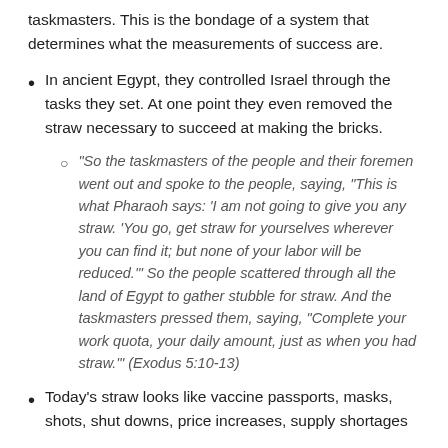taskmasters. This is the bondage of a system that determines what the measurements of success are.
In ancient Egypt, they controlled Israel through the tasks they set. At one point they even removed the straw necessary to succeed at making the bricks.
“So the taskmasters of the people and their foremen went out and spoke to the people, saying, “This is what Pharaoh says: ‘I am not going to give you any straw. ‘You go, get straw for yourselves wherever you can find it; but none of your labor will be reduced.’” So the people scattered through all the land of Egypt to gather stubble for straw. And the taskmasters pressed them, saying, “Complete your work quota, your daily amount, just as when you had straw.’” (Exodus 5:10-13)
Today’s straw looks like vaccine passports, masks, shots, shut downs, price increases, supply shortages